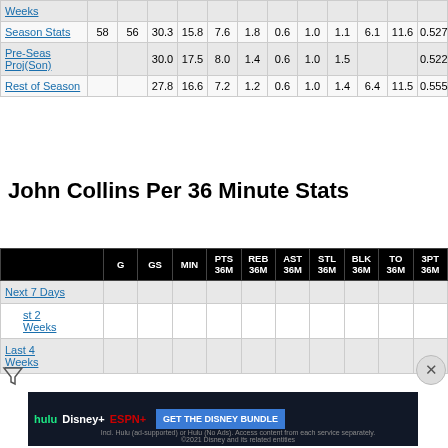|  | G | GS | MIN | PTS | REB | AST | STL | BLK | TO | ... |
| --- | --- | --- | --- | --- | --- | --- | --- | --- | --- | --- |
| Weeks |  |  |  |  |  |  |  |  |  |  |
| Season Stats | 58 | 56 | 30.3 | 15.8 | 7.6 | 1.8 | 0.6 | 1.0 | 1.1 | 6.1 | 11.6 | 0.527 | 4. |
| Pre-Seas Proj(Son) |  |  | 30.0 | 17.5 | 8.0 | 1.4 | 0.6 | 1.0 | 1.5 |  |  | 0.522 |  |
| Rest of Season |  |  | 27.8 | 16.6 | 7.2 | 1.2 | 0.6 | 1.0 | 1.4 | 6.4 | 11.5 | 0.555 | 5. |
John Collins Per 36 Minute Stats
|  | G | GS | MIN | PTS 36M | REB 36M | AST 36M | STL 36M | BLK 36M | TO 36M | 3PT 36M |
| --- | --- | --- | --- | --- | --- | --- | --- | --- | --- | --- |
| Next 7 Days |  |  |  |  |  |  |  |  |  |  |
| Last 2 Weeks |  |  |  |  |  |  |  |  |  |  |
| Last 4 Weeks |  |  |  |  |  |  |  |  |  |  |